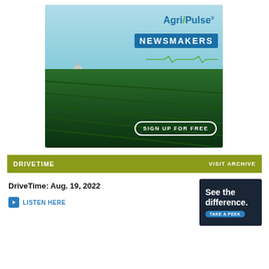[Figure (illustration): AgriPulse Newsmakers advertisement banner with US Capitol building, green farm fields, 'NEW!' badge, AgriPulse logo, NEWSMAKERS heading, and 'SIGN UP FOR FREE' button]
DRIVETIME  VISIT ARCHIVE
DriveTime: Aug. 19, 2022
LISTEN HERE
[Figure (advertisement): Dark blue advertisement panel with text 'See the difference.' and a 'TAKE A PEEK' button]